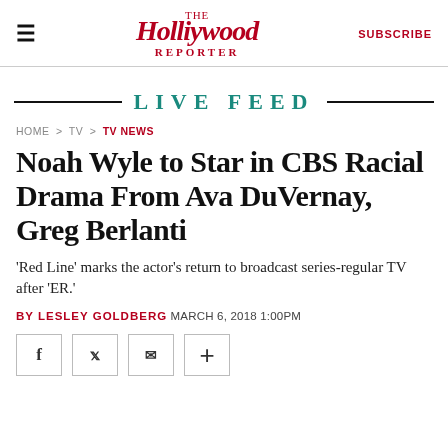The Hollywood Reporter | SUBSCRIBE
LIVE FEED
HOME > TV > TV NEWS
Noah Wyle to Star in CBS Racial Drama From Ava DuVernay, Greg Berlanti
'Red Line' marks the actor's return to broadcast series-regular TV after 'ER.'
BY LESLEY GOLDBERG MARCH 6, 2018 1:00PM